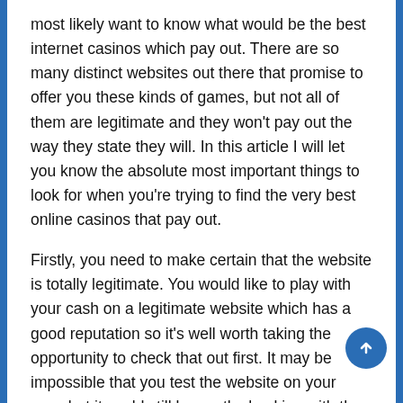most likely want to know what would be the best internet casinos which pay out. There are so many distinct websites out there that promise to offer you these kinds of games, but not all of them are legitimate and they won't pay out the way they state they will. In this article I will let you know the absolute most important things to look for when you're trying to find the very best online casinos that pay out.
Firstly, you need to make certain that the website is totally legitimate. You would like to play with your cash on a legitimate website which has a good reputation so it's well worth taking the opportunity to check that out first. It may be impossible that you test the website on your own, but it could still be worth checking with the prior clients.
sign up table games